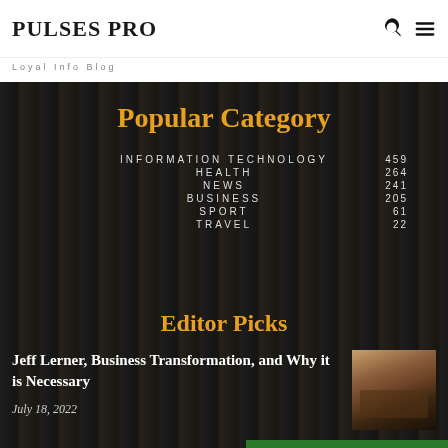PULSES PRO
Loyal Info Blog
Popular Category
INFORMATION TECHNOLOGY 459
HEALTH 264
NEWS 241
BUSINESS 205
SPORT 61
TRAVEL 22
Editor Picks
Jeff Lerner, Business Transformation, and Why it is Necessary
July 18, 2022
[Figure (photo): Office desk with computer setup and shelving unit, brown wood furniture]